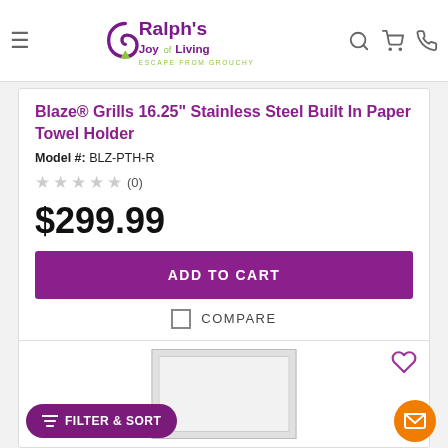Ralph's Joy of Living — Escape From Grouchy
Blaze® Grills 16.25" Stainless Steel Built In Paper Towel Holder
Model #: BLZ-PTH-R
★★★★★ (0)
$299.99
ADD TO CART
COMPARE
[Figure (photo): Partial view of a second product card with a stainless steel built-in paper towel holder product image placeholder]
FILTER & SORT